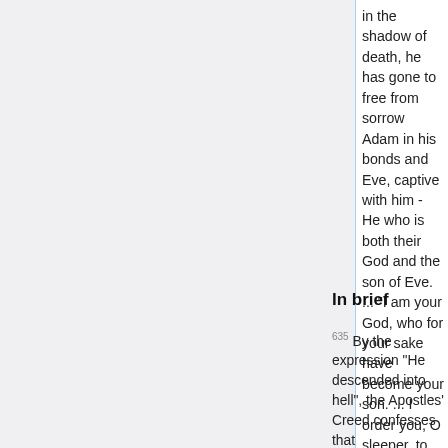in the shadow of death, he has gone to free from sorrow Adam in his bonds and Eve, captive with him - He who is both their God and the son of Eve. ... "I am your God, who for your sake have become your son. ... I order you, O sleeper, to awake. I did not create you to be a prisoner in hell. Rise from the dead, for I am the life of the dead."[11]
In brief
635 By the expression "He descended into hell", the Apostles' Creed confesses that